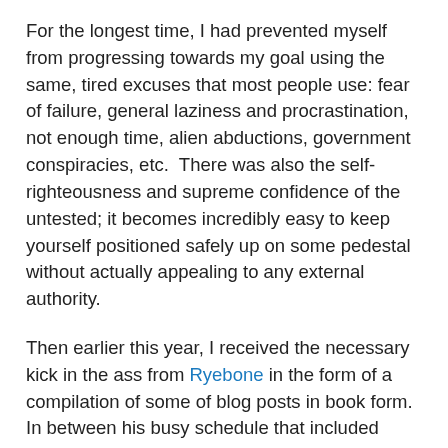For the longest time, I had prevented myself from progressing towards my goal using the same, tired excuses that most people use: fear of failure, general laziness and procrastination, not enough time, alien abductions, government conspiracies, etc.  There was also the self-righteousness and supreme confidence of the untested; it becomes incredibly easy to keep yourself positioned safely up on some pedestal without actually appealing to any external authority.
Then earlier this year, I received the necessary kick in the ass from Ryebone in the form of a compilation of some of blog posts in book form.  In between his busy schedule that included strangling a hooker in an alleyway for forgetting to call him "Mr. T" and jerking off in the cream of mushroom soup at his cousin's wedding, he managed to put together this thoughtful and heartwarming gift.  (This was mostly, as it would turn out later, an act of contrition for leaving me for dead in a Turkish prison after he sold me out to authorities for the possession of several pounds of cocaine I had never seen before after what I now realized was a not-so-innocent backbacking trek through Europe and the Near East.)